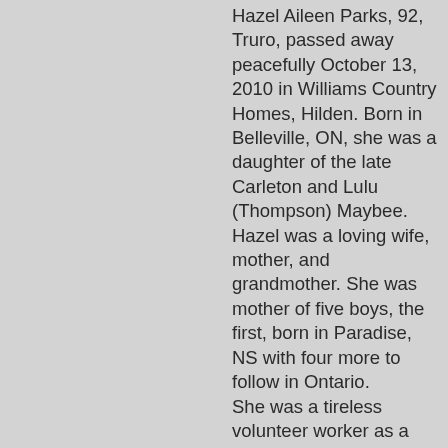Hazel Aileen Parks, 92, Truro, passed away peacefully October 13, 2010 in Williams Country Homes, Hilden. Born in Belleville, ON, she was a daughter of the late Carleton and Lulu (Thompson) Maybee. Hazel was a loving wife, mother, and grandmother. She was mother of five boys, the first, born in Paradise, NS with four more to follow in Ontario. She was a tireless volunteer worker as a member of The United Church. A lifetime of friendships began in Kemptville, Ont. With five boys the house was full of friends, cousins and drop-ins who were